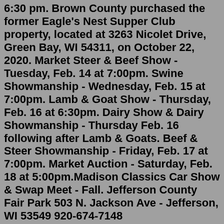6:30 pm. Brown County purchased the former Eagle's Nest Supper Club property, located at 3263 Nicolet Drive, Green Bay, WI 54311, on October 22, 2020. Market Steer & Beef Show - Tuesday, Feb. 14 at 7:00pm. Swine Showmanship - Wednesday, Feb. 15 at 7:00pm. Lamb & Goat Show - Thursday, Feb. 16 at 6:30pm. Dairy Show & Dairy Showmanship - Thursday Feb. 16 following after Lamb & Goats. Beef & Steer Showmanship - Friday, Feb. 17 at 7:00pm. Market Auction - Saturday, Feb. 18 at 5:00pm.Madison Classics Car Show & Swap Meet - Fall. Jefferson County Fair Park 503 N. Jackson Ave - Jefferson, WI 53549 920-674-7148 info@jcfairpark.comPlan your entire trip to the Porter County Fair with our helpful Fair Schedule! From opening day until the final fireworks are set off, there is plenty of fun, food, and fair action waiting for you. The Brown County Fair is Summer's grand finale - don't miss out! View Ticket Options. Dacotah bank stampede rodeo. Monday, Aug. 15, 2022 7:00 pm. Tuesday, Aug. 16, 2022 7:00 pm. Additional